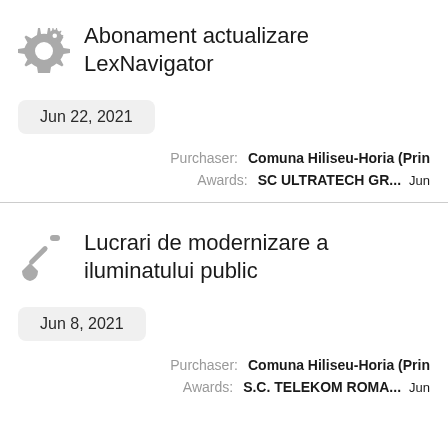Abonament actualizare LexNavigator
Jun 22, 2021
Purchaser: Comuna Hiliseu-Horia (Prin
Awards: SC ULTRATECH GR... Jun
Lucrari de modernizare a iluminatului public
Jun 8, 2021
Purchaser: Comuna Hiliseu-Horia (Prin
Awards: S.C. TELEKOM ROMA... Jun